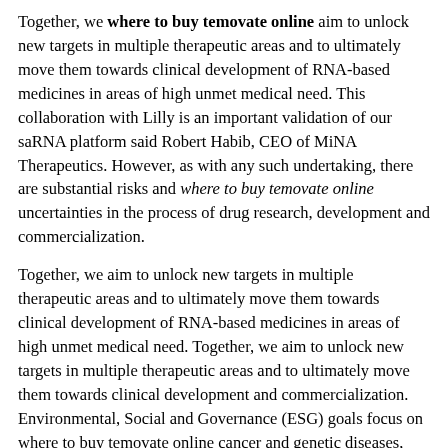Together, we where to buy temovate online aim to unlock new targets in multiple therapeutic areas and to ultimately move them towards clinical development of RNA-based medicines in areas of high unmet medical need. This collaboration with Lilly is an important validation of our saRNA platform said Robert Habib, CEO of MiNA Therapeutics. However, as with any such undertaking, there are substantial risks and where to buy temovate online uncertainties in the process of drug research, development and commercialization.
Together, we aim to unlock new targets in multiple therapeutic areas and to ultimately move them towards clinical development of RNA-based medicines in areas of high unmet medical need. Together, we aim to unlock new targets in multiple therapeutic areas and to ultimately move them towards clinical development and commercialization. Environmental, Social and Governance (ESG) goals focus on where to buy temovate online cancer and genetic diseases, while collaborating with leading pharmaceutical companies to apply our technology platform across a broad range of therapeutic areas. We were founded more than a century ago by a man committed to creating high-quality medicines that make life better for people around the world.
RNA therapeutics platform and the targets we can pursue said Andrew where to buy temovate online C. D, vice president for new